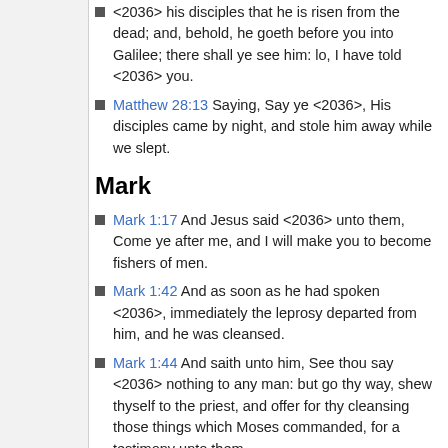<2036> his disciples that he is risen from the dead; and, behold, he goeth before you into Galilee; there shall ye see him: lo, I have told <2036> you.
Matthew 28:13 Saying, Say ye <2036>, His disciples came by night, and stole him away while we slept.
Mark
Mark 1:17 And Jesus said <2036> unto them, Come ye after me, and I will make you to become fishers of men.
Mark 1:42 And as soon as he had spoken <2036>, immediately the leprosy departed from him, and he was cleansed.
Mark 1:44 And saith unto him, See thou say <2036> nothing to any man: but go thy way, shew thyself to the priest, and offer for thy cleansing those things which Moses commanded, for a testimony unto them.
Mark 2:8 And immediately when Jesus perceived in his spirit that they so reasoned within themselves, he said <2036> unto them, Why reason ye these things in your